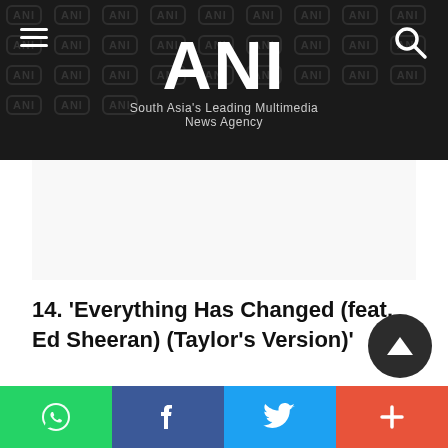ANI — South Asia's Leading Multimedia News Agency
[Figure (other): White advertisement/content placeholder area]
14. 'Everything Has Changed (feat. Ed Sheeran) (Taylor's Version)'
15. 'Starlight (Taylor's Version)'
Social share bar: WhatsApp, Facebook, Twitter, More